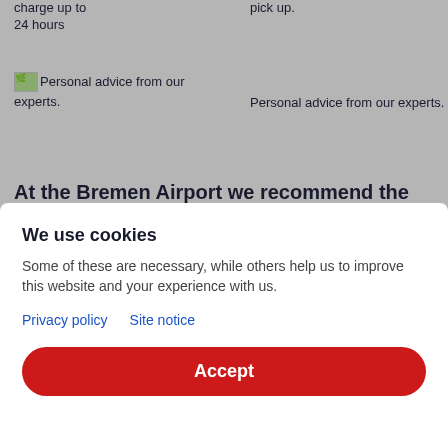charge up to 24 hours
pick up.
Personal advice from our experts.
Personal advice from our experts.
At the Bremen Airport we recommend the following car rental offers
Mini
from 46 $ per day
Alone on the road or only with small luggage? Then this will be
We use cookies
Some of these are necessary, while others help us to improve this website and your experience with us.
Privacy policy
Site notice
Accept